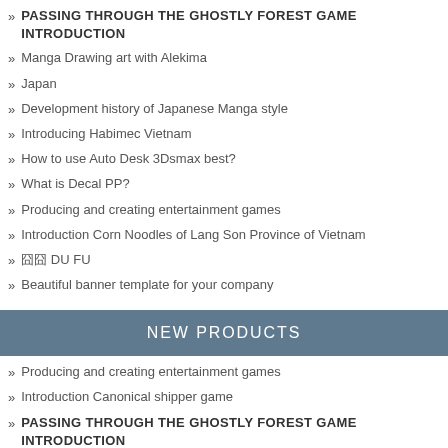» PASSING THROUGH THE GHOSTLY FOREST GAME INTRODUCTION
» Manga Drawing art with Alekima
» Japan
» Development history of Japanese Manga style
» Introducing Habimec Vietnam
» How to use Auto Desk 3Dsmax best?
» What is Decal PP?
» Producing and creating entertainment games
» Introduction Corn Noodles of Lang Son Province of Vietnam
» 囧囧 DU FU
» Beautiful banner template for your company
NEW PRODUCTS
» Producing and creating entertainment games
» Introduction Canonical shipper game
» PASSING THROUGH THE GHOSTLY FOREST GAME INTRODUCTION
» Banner Mid-Autumn free download
» WordPress theme for Medical, clinic, cosmetics, spa introduction